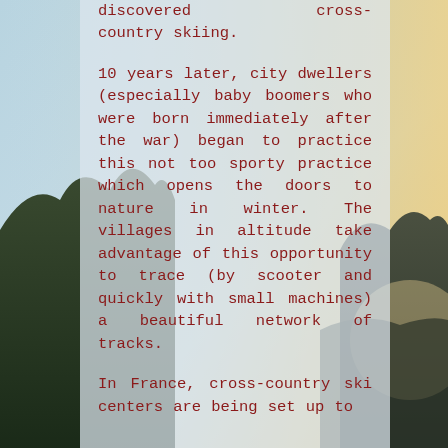[Figure (photo): Outdoor landscape background photo showing mountains, trees silhouetted against a sky with sunlight on the right side, with a gradient from pale blue at top to warm orange/yellow at right. The background is partially obscured by a semi-transparent light blue-grey text overlay panel in the center.]
discovered cross-country skiing.
10 years later, city dwellers (especially baby boomers who were born immediately after the war) began to practice this not too sporty practice which opens the doors to nature in winter. The villages in altitude take advantage of this opportunity to trace (by scooter and quickly with small machines) a beautiful network of tracks.
In France, cross-country ski centers are being set up to